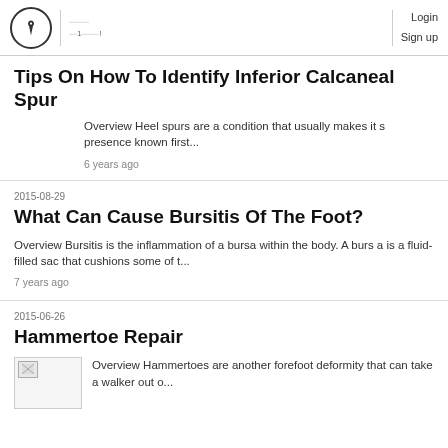Login Sign up
Tips On How To Identify Inferior Calcaneal Spur
Overview Heel spurs are a condition that usually makes its presence known first...
6 years ago
2015-08-29
What Can Cause Bursitis Of The Foot?
Overview Bursitis is the inflammation of a bursa within the body. A bursa is a fluid-filled sac that cushions some of t...
7 years ago
2015-06-26
Hammertoe Repair
Overview Hammertoes are another forefoot deformity that can take a walker out o...